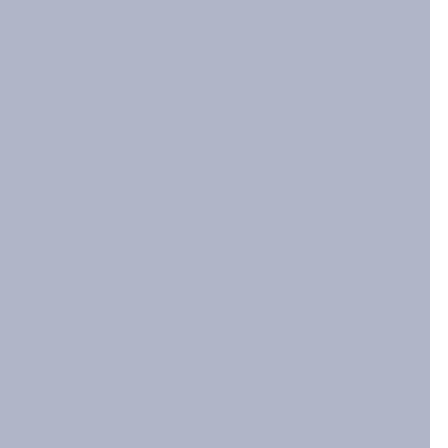absolutely cannot ever be kept as outside pets - no matter what season. Warm coats are strongly advised for any extended time spent outside in the colder months.  And if they walk where salt has been laid to prevent ice - like city sidewalks in the Winter - their feet need to be washed off when they come inside so the salt does not abrade their foot pads raw.
Greyhounds are sight hounds, which means if they see something...